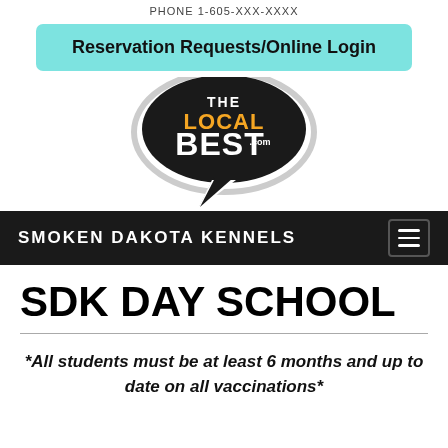PHONE 1-605-XXX-XXXX
[Figure (screenshot): Cyan/teal rounded rectangle button labeled 'Reservation Requests/Online Login' in bold black text]
[Figure (logo): The Local Best .com logo — speech bubble shape in black with white and orange text]
SMOKEN DAKOTA KENNELS
SDK DAY SCHOOL
*All students must be at least 6 months and up to date on all vaccinations*